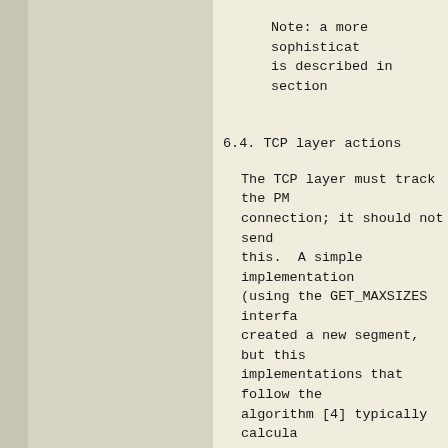Note: a more sophisticated algorithm is described in section
6.4. TCP layer actions
The TCP layer must track the PMTU for each connection; it should not send datagrams larger than this. A simple implementation (using the GET_MAXSIZES interface) is created a new segment, but this may miss implementations that follow the Nagle algorithm [4] typically calculates a limit derived from the PMTU. It may also need notification when the PMTU changes, so it can be updated.
A TCP implementation must also consider the MSS of its peer (which defaults to 536), and must not send larger than this MSS, regardless of the PMTU. In many cases this requires adding an additional